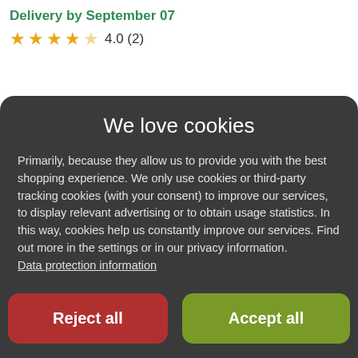Delivery by September 07
★★★★☆ 4.0 (2)
We love cookies
Primarily, because they allow us to provide you with the best shopping experience. We only use cookies or third-party tracking cookies (with your consent) to improve our services, to display relevant advertising or to obtain usage statistics. In this way, cookies help us constantly improve our services. Find out more in the settings or in our privacy information.
Data protection information
Settings
Reject all
Accept all